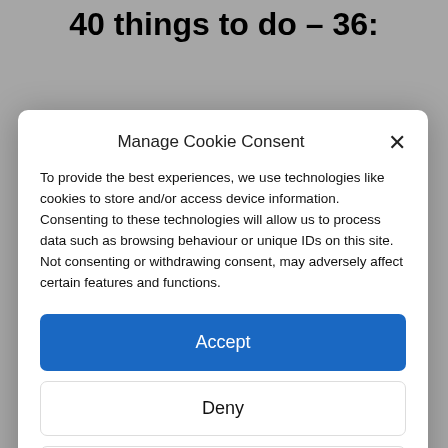40 things to do – 36:
[Figure (screenshot): Cookie consent modal dialog overlaying a webpage. The background shows a webpage title '40 things to do – 36:' and a colorful food/craft image at the bottom. The modal has a title 'Manage Cookie Consent', body text about cookies and data processing, an 'Accept' button (blue), a 'Deny' button, and a 'View preferences' button, plus links to Cookie Policy and Privacy & Cookie Policy, Terms of Use.]
Manage Cookie Consent
To provide the best experiences, we use technologies like cookies to store and/or access device information. Consenting to these technologies will allow us to process data such as browsing behaviour or unique IDs on this site. Not consenting or withdrawing consent, may adversely affect certain features and functions.
Accept
Deny
View preferences
Cookie Policy  Privacy & Cookie Policy, Terms of Use